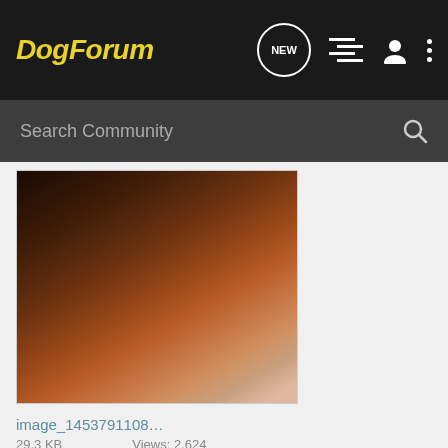DogForum
Search Community
[Figure (photo): Close-up photo of a dog's skin/fur area with reddish fabric or blanket visible]
image_1453791108... · 29.3 KB · Views: 2,624
saviabbie · Registered · Joined Jan 25, 2016 · 5 Posts
Discussion Starter · #4 · Jan 27, 2016